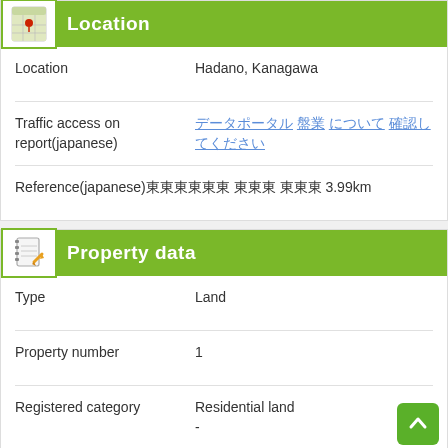Location
| Field | Value |
| --- | --- |
| Location | Hadano, Kanagawa |
| Traffic access on report(japanese) | [Japanese link text] |
| Reference(japanese) | [Japanese text] 3.99km |
Property data
| Field | Value |
| --- | --- |
| Type | Land |
| Property number | 1 |
| Registered category | Residential land |
| Actual category | - |
| Registered area | 149.52sq.meters |